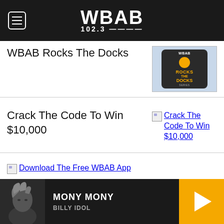WBAB 102.3
WBAB Rocks The Docks
Crack The Code To Win $10,000
Download The Free WBAB App
MONY MONY — BILLY IDOL